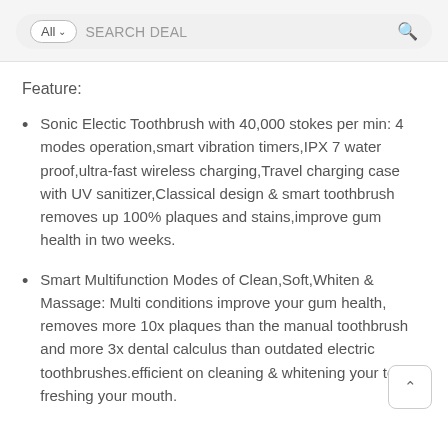All  SEARCH DEAL
Feature:
Sonic Electic Toothbrush with 40,000 stokes per min: 4 modes operation,smart vibration timers,IPX 7 water proof,ultra-fast wireless charging,Travel charging case with UV sanitizer,Classical design & smart toothbrush removes up 100% plaques and stains,improve gum health in two weeks.
Smart Multifunction Modes of Clean,Soft,Whiten & Massage: Multi conditions improve your gum health, removes more 10x plaques than the manual toothbrush and more 3x dental calculus than outdated electric toothbrushes.efficient on cleaning & whitening your teeth, freshing your mouth.